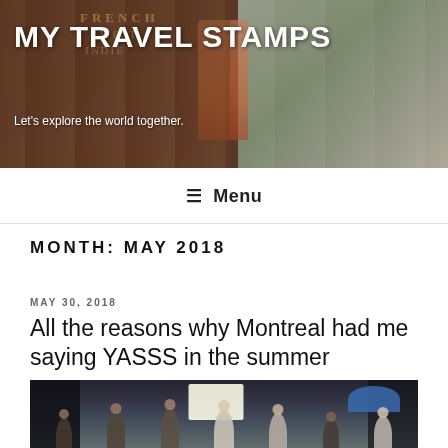[Figure (photo): Travel blog header banner showing a brick sign with French/Indie text, a woman in orange dress, and cars in background]
MY TRAVEL STAMPS
Let's explore the world together.
≡ Menu
MONTH: MAY 2018
MAY 30, 2018
All the reasons why Montreal had me saying YASSS in the summer
[Figure (photo): Concert/festival scene with crowd dancing and celebrating outdoors, blue umbrella visible in background]